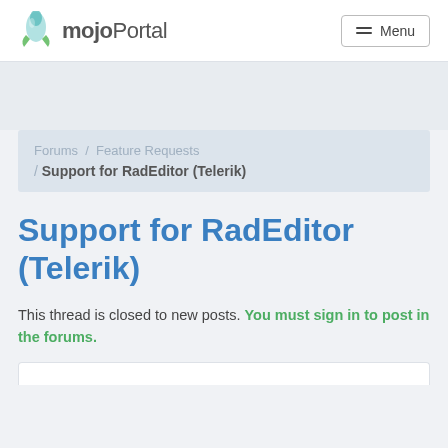[Figure (logo): mojoPortal logo with rocket icon and text]
Forums / Feature Requests / Support for RadEditor (Telerik)
Support for RadEditor (Telerik)
This thread is closed to new posts. You must sign in to post in the forums.